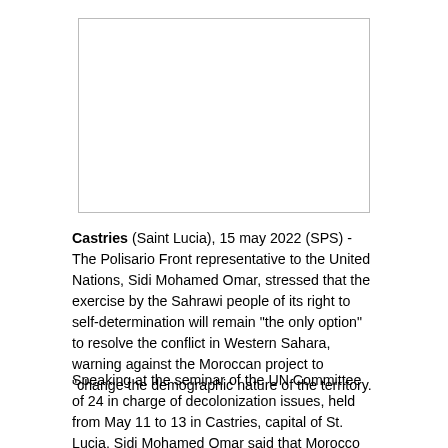[Figure (photo): White/blank image placeholder with a thin border]
Castries (Saint Lucia), 15 may 2022 (SPS) - The Polisario Front representative to the United Nations, Sidi Mohamed Omar, stressed that the exercise by the Sahrawi people of its right to self-determination will remain "the only option" to resolve the conflict in Western Sahara, warning against the Moroccan project to "change the demographic nature of the territory.
Speaking at the seminar of the UN Committee of 24 in charge of decolonization issues, held from May 11 to 13 in Castries, capital of St. Lucia, Sidi Mohamed Omar said that Morocco was "changing the demographic nature of the Sahrawi territory through intensive